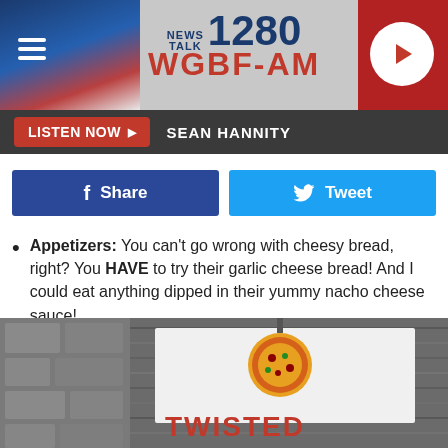[Figure (screenshot): NEWS TALK 1280 WGBF-AM radio station header banner with hamburger menu icon on left, logo in center, and play button on right]
LISTEN NOW ▶  SEAN HANNITY
[Figure (other): Facebook Share and Twitter Tweet social sharing buttons]
Appetizers: You can't go wrong with cheesy bread, right? You HAVE to try their garlic cheese bread! And I could eat anything dipped in their yummy nacho cheese sauce!
Twisted 2Mato Pizza Co. is located at 1101 Harmony Way, right across from the Hilltop Inn.
[Figure (photo): Grayscale photo of a wooden wall with a white sign showing a pizza and the word Twisted in red letters at the bottom of the page]